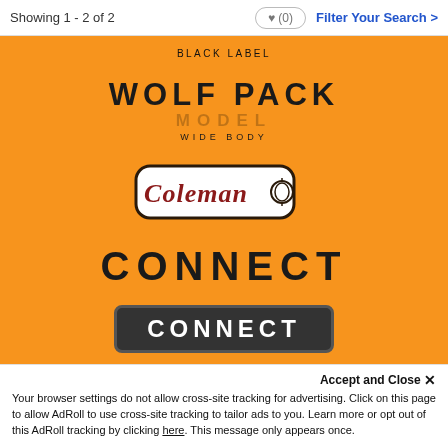Showing 1 - 2 of 2  ♥ (0)  Filter Your Search >
[Figure (illustration): Orange background product card showing Coleman RV/camper branding. Top text reads 'BLACK LABEL'. Large bold text 'WOLF PACK' with ghost model number below and 'WIDE BODY' subtitle. Coleman logo badge in center. Large bold 'CONNECT' text below. Partially visible 'CONNECT' badge at bottom.]
Accept and Close ✕
Your browser settings do not allow cross-site tracking for advertising. Click on this page to allow AdRoll to use cross-site tracking to tailor ads to you. Learn more or opt out of this AdRoll tracking by clicking here. This message only appears once.